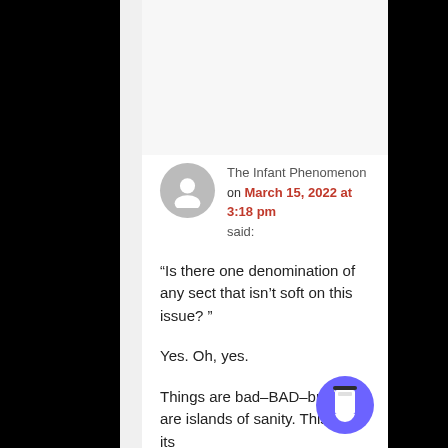The Infant Phenomenon on March 15, 2022 at 3:18 pm said:
“Is there one denomination of any sect that isn’t soft on this issue? ”
Yes. Oh, yes.
Things are bad–BAD–but there are islands of sanity. This blog, its...